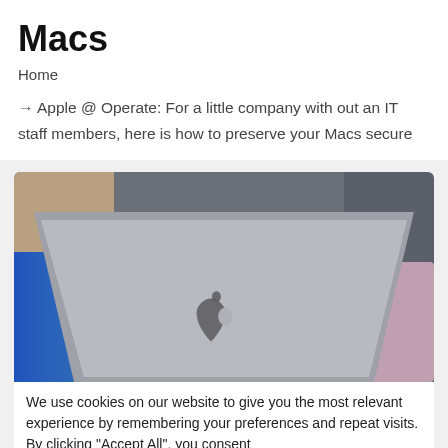Macs
Home
→ Apple @ Operate: For a little company with out an IT staff members, here is how to preserve your Macs secure
[Figure (photo): Photo of a MacBook laptop with Apple logo visible, shown from behind at an angle, with blurred background showing other devices.]
We use cookies on our website to give you the most relevant experience by remembering your preferences and repeat visits. By clicking "Accept All", you consent